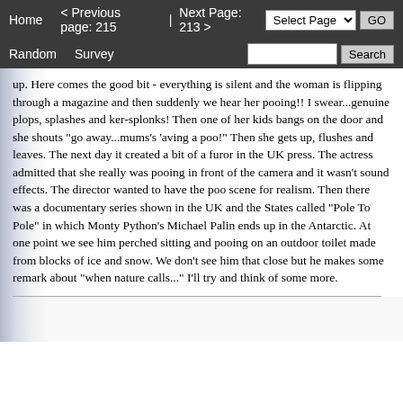Home   < Previous page: 215   |   Next Page: 213 >   Random   Survey   Select Page ▼   GO   Search
up. Here comes the good bit - everything is silent and the woman is flipping through a magazine and then suddenly we hear her pooing!! I swear...genuine plops, splashes and ker-splonks! Then one of her kids bangs on the door and she shouts "go away...mums's 'aving a poo!" Then she gets up, flushes and leaves. The next day it created a bit of a furor in the UK press. The actress admitted that she really was pooing in front of the camera and it wasn't sound effects. The director wanted to have the poo scene for realism. Then there was a documentary series shown in the UK and the States called "Pole To Pole" in which Monty Python's Michael Palin ends up in the Antarctic. At one point we see him perched sitting and pooing on an outdoor toilet made from blocks of ice and snow. We don't see him that close but he makes some remark about "when nature calls..." I'll try and think of some more.